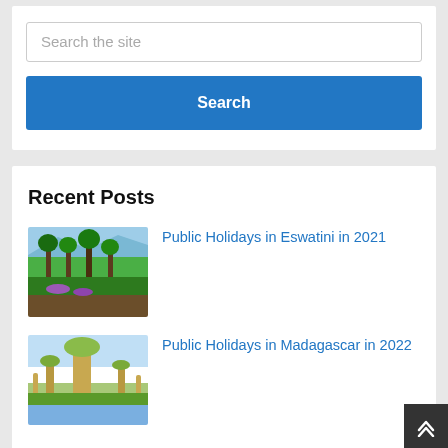Search the site
Search
Recent Posts
Public Holidays in Eswatini in 2021
[Figure (photo): Tropical forest scene with tall palm trees and green vegetation against a blue sky with mountains]
Public Holidays in Madagascar in 2022
[Figure (photo): Baobab trees with a tall yellow-orange baobab in the foreground against a light sky, with green fields and water reflections below]